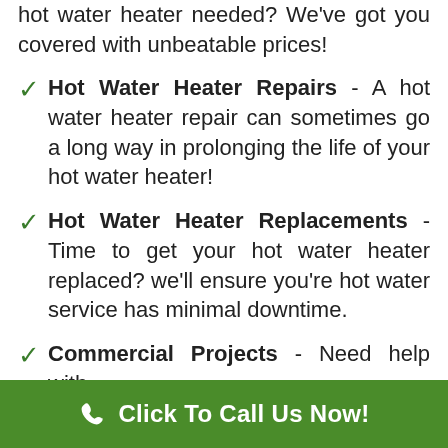hot water heater needed? We've got you covered with unbeatable prices!
Hot Water Heater Repairs - A hot water heater repair can sometimes go a long way in prolonging the life of your hot water heater!
Hot Water Heater Replacements - Time to get your hot water heater replaced? we'll ensure you're hot water service has minimal downtime.
Commercial Projects - Need help with
Click To Call Us Now!